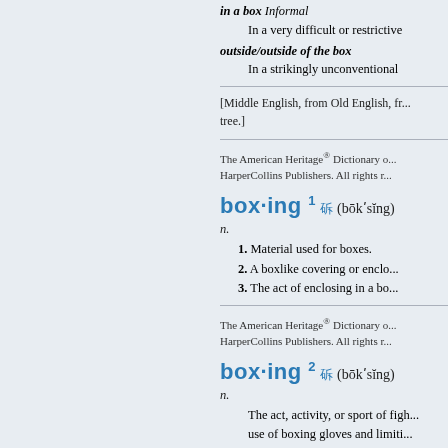in a box Informal
    In a very difficult or restrictive
outside/outside of the box
    In a strikingly unconventional
[Middle English, from Old English, fr... tree.]
The American Heritage® Dictionary o... HarperCollins Publishers. All rights r...
box·ing 1 (bōk′sĭng)
n.
1. Material used for boxes.
2. A boxlike covering or enclo...
3. The act of enclosing in a bo...
The American Heritage® Dictionary o... HarperCollins Publishers. All rights r...
box·ing 2 (bōk′sĭng)
n.
The act, activity, or sport of figh... use of boxing gloves and limiti... front or sides of the opponent.